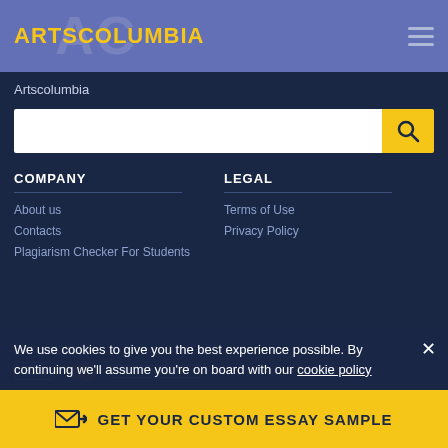ARTSCOLUMBIA
Artscolumbia
[Figure (screenshot): Search bar with white input field and yellow search button with magnifying glass icon]
COMPANY
About us
Contacts
Plagiarism Checker For Students
LEGAL
Terms of Use
Privacy Policy
We use cookies to give you the best experience possible. By continuing we'll assume you're on board with our cookie policy
GET YOUR CUSTOM ESSAY SAMPLE